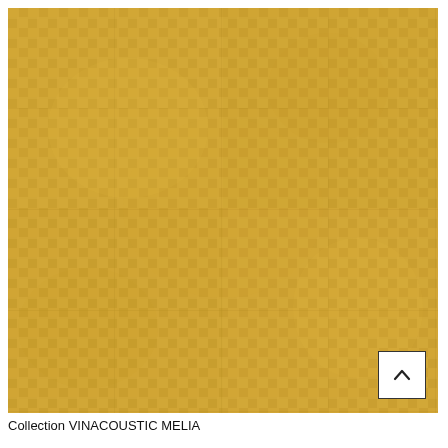[Figure (photo): Golden yellow woven textile/fabric texture showing a grid-like woven pattern with subtle color variations. The fabric has a warm amber/golden color with visible weave structure creating a slightly textured surface. A white square button with a dark upward-pointing chevron arrow is overlaid in the bottom-right corner of the image.]
Collection VINACOUSTIC MELIA